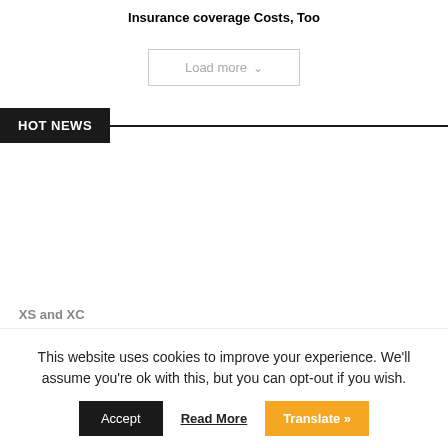Insurance coverage Costs, Too
Load more ∨
HOT NEWS
This website uses cookies to improve your experience. We'll assume you're ok with this, but you can opt-out if you wish.
Accept  Read More  Translate »